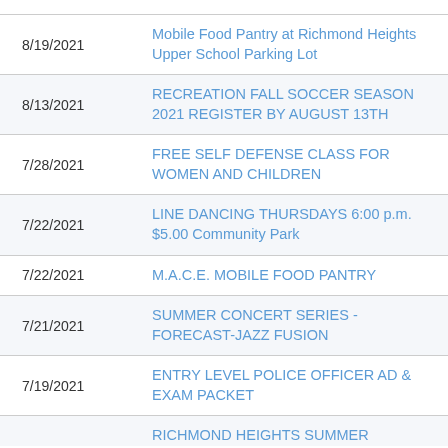8/19/2021 — Mobile Food Pantry at Richmond Heights Upper School Parking Lot
8/13/2021 — RECREATION FALL SOCCER SEASON 2021 REGISTER BY AUGUST 13TH
7/28/2021 — FREE SELF DEFENSE CLASS FOR WOMEN AND CHILDREN
7/22/2021 — LINE DANCING THURSDAYS 6:00 p.m. $5.00 Community Park
7/22/2021 — M.A.C.E. MOBILE FOOD PANTRY
7/21/2021 — SUMMER CONCERT SERIES - FORECAST-JAZZ FUSION
7/19/2021 — ENTRY LEVEL POLICE OFFICER AD & EXAM PACKET
RICHMOND HEIGHTS SUMMER